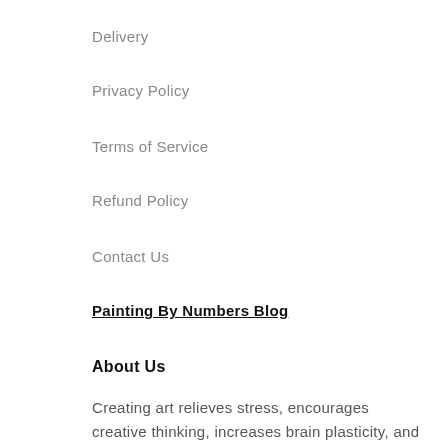Delivery
Privacy Policy
Terms of Service
Refund Policy
Contact Us
Painting By Numbers Blog
About Us
Creating art relieves stress, encourages creative thinking, increases brain plasticity, and imparts other mental health benefits.